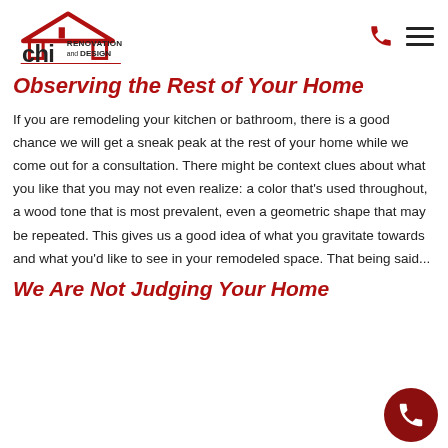CHI Renovation and Design
Observing the Rest of Your Home
If you are remodeling your kitchen or bathroom, there is a good chance we will get a sneak peak at the rest of your home while we come out for a consultation. There might be context clues about what you like that you may not even realize: a color that's used throughout, a wood tone that is most prevalent, even a geometric shape that may be repeated. This gives us a good idea of what you gravitate towards and what you'd like to see in your remodeled space. That being said...
We Are Not Judging Your Home